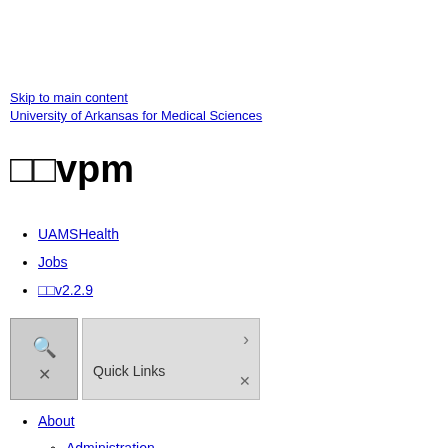Skip to main content
University of Arkansas for Medical Sciences
□□vpm
UAMSHealth
Jobs
□□v2.2.9
[Figure (other): Search button with magnifying glass icon and X close icon]
[Figure (other): Quick Links button with right arrow and X close icon]
About
Administration
Advisory Board
News
Billing